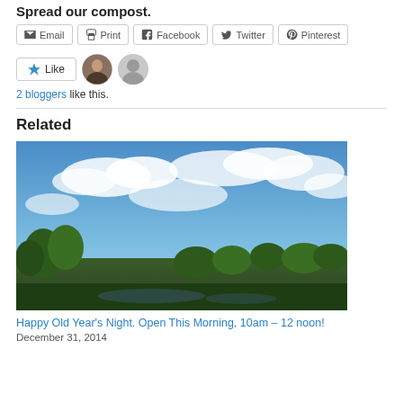Spread our compost.
Email | Print | Facebook | Twitter | Pinterest
Like  2 bloggers like this.
Related
[Figure (photo): Outdoor landscape photo showing blue sky with white clouds above green tropical trees and vegetation]
Happy Old Year's Night. Open This Morning, 10am – 12 noon!
December 31, 2014